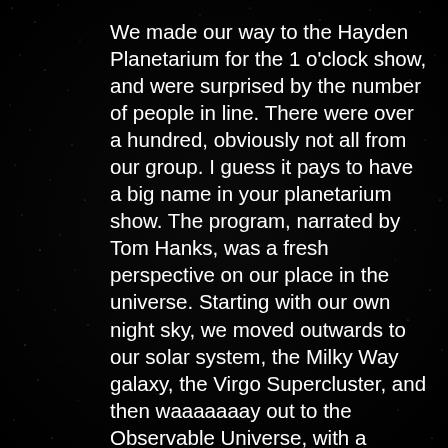We made our way to the Hayden Planetarium for the 1 o'clock show, and were surprised by the number of people in line. There were over a hundred, obviously not all from our group. I guess it pays to have a big name in your planetarium show. The program, narrated by Tom Hanks, was a fresh perspective on our place in the universe. Starting with our own night sky, we moved outwards to our solar system, the Milky Way galaxy, the Virgo Supercluster, and then waaaaaaay out to the Observable Universe, with a friendly reminder that there may be even more out there that we can't observe yet. The program stressed the fact that we're just starting to see a tiny portion of what's out there, and that it's our responsibility to keep looking.

Following the show, we were on our own for